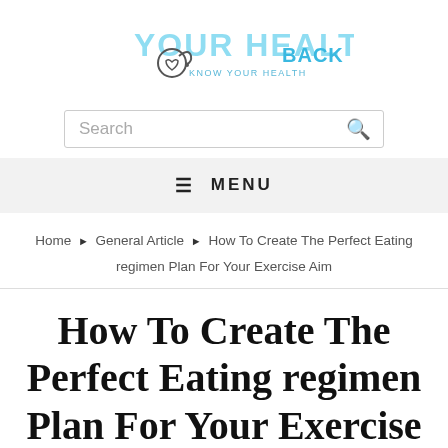[Figure (logo): Your Health Back logo with stethoscope heart icon and text 'YOUR HEALTH BACK - KNOW YOUR HEALTH' in light blue]
Search
≡ MENU
Home ▶ General Article ▶ How To Create The Perfect Eating regimen Plan For Your Exercise Aim
How To Create The Perfect Eating regimen Plan For Your Exercise Aim